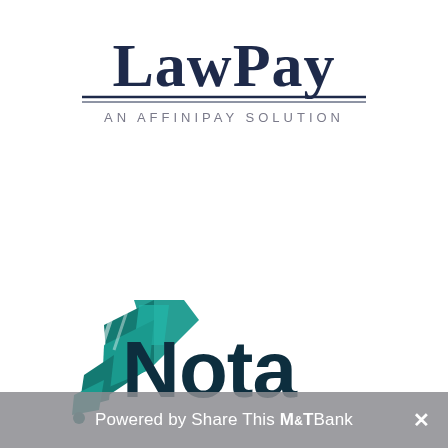[Figure (logo): LawPay logo — large serif text 'LawPay' in dark navy with double horizontal rule beneath, and smaller spaced text 'AN AFFINIPAY SOLUTION' below]
[Figure (logo): Nota logo — teal quill/pen icon on the left and bold dark teal text 'Nota' on the right]
Powered by Share This M&T Bank ×